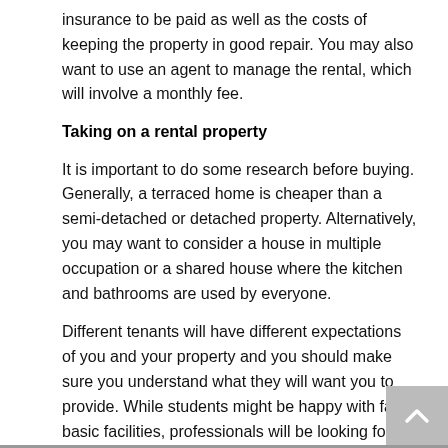insurance to be paid as well as the costs of keeping the property in good repair. You may also want to use an agent to manage the rental, which will involve a monthly fee.
Taking on a rental property
It is important to do some research before buying. Generally, a terraced home is cheaper than a semi-detached or detached property. Alternatively, you may want to consider a house in multiple occupation or a shared house where the kitchen and bathrooms are used by everyone.
Different tenants will have different expectations of you and your property and you should make sure you understand what they will want you to provide. While students might be happy with fairly basic facilities, professionals will be looking for a good quality, clean finish.
You should look at the location of your property and consider whether it will be easy to rent it out to your ideal